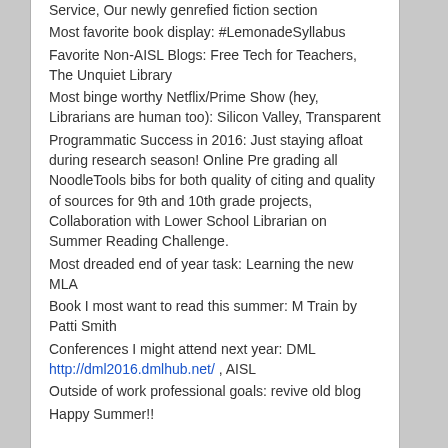Service, Our newly genrefied fiction section
Most favorite book display: #LemonadeSyllabus
Favorite Non-AISL Blogs: Free Tech for Teachers, The Unquiet Library
Most binge worthy Netflix/Prime Show (hey, Librarians are human too): Silicon Valley, Transparent
Programmatic Success in 2016: Just staying afloat during research season! Online Pre grading all NoodleTools bibs for both quality of citing and quality of sources for 9th and 10th grade projects, Collaboration with Lower School Librarian on Summer Reading Challenge.
Most dreaded end of year task: Learning the new MLA
Book I most want to read this summer: M Train by Patti Smith
Conferences I might attend next year: DML http://dml2016.dmlhub.net/ , AISL
Outside of work professional goals: revive old blog
Happy Summer!!